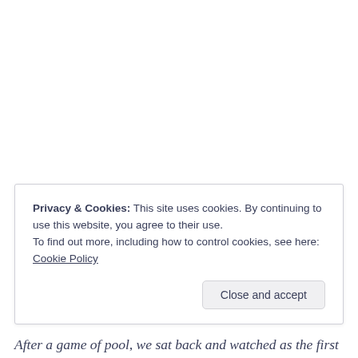Privacy & Cookies: This site uses cookies. By continuing to use this website, you agree to their use.
To find out more, including how to control cookies, see here: Cookie Policy
Close and accept
After a game of pool, we sat back and watched as the first